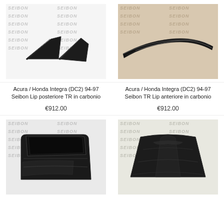[Figure (photo): Two carbon fiber rear lip splitter pieces for Acura/Honda Integra DC2, shown on white watermarked background]
[Figure (photo): Carbon fiber front TR lip for Acura/Honda Integra DC2, shown lying on surface, photographed from above]
Acura / Honda Integra (DC2) 94-97 Seibon Lip posteriore TR in carbonio
€912.00
Acura / Honda Integra (DC2) 94-97 Seibon TR Lip anteriore in carbonio
€912.00
[Figure (photo): Carbon fiber door panel for Acura/Honda Integra, shown on watermarked Seibon background]
[Figure (photo): Carbon fiber hood for Acura/Honda Integra, shown on watermarked Seibon background]